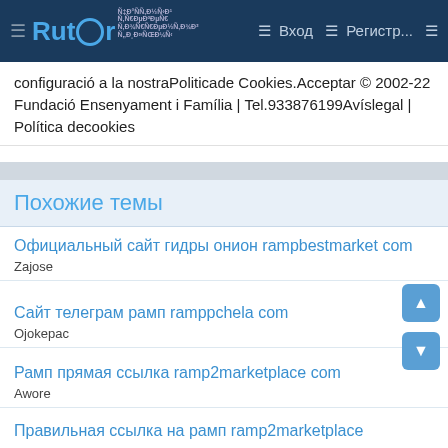Rutor | Вход | Регистр...
configuració a la nostraPoliticade Cookies.Acceptar © 2002-22 Fundació Ensenyament i Família | Tel.933876199Avíslegal | Política decookies
Похожие темы
Официальный сайт гидры онион rampbestmarket com
Zajose
Сайт телеграм рамп ramppchela com
Ojokepac
Рамп прямая ссылка ramp2marketplace com
Awore
Правильная ссылка на рамп ramp2marketplace com
Zacyqab
Рамп вход ramp2marketplace com
Ywuhib